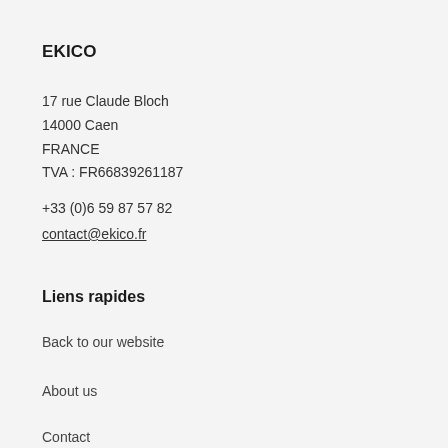EKICO
17 rue Claude Bloch
14000 Caen
FRANCE
TVA : FR66839261187
+33 (0)6 59 87 57 82
contact@ekico.fr
Liens rapides
Back to our website
About us
Contact